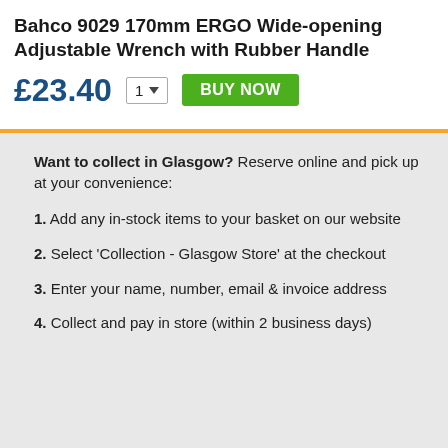Bahco 9029 170mm ERGO Wide-opening Adjustable Wrench with Rubber Handle
£23.40
Want to collect in Glasgow? Reserve online and pick up at your convenience:
1. Add any in-stock items to your basket on our website
2. Select 'Collection - Glasgow Store' at the checkout
3. Enter your name, number, email & invoice address
4. Collect and pay in store (within 2 business days)